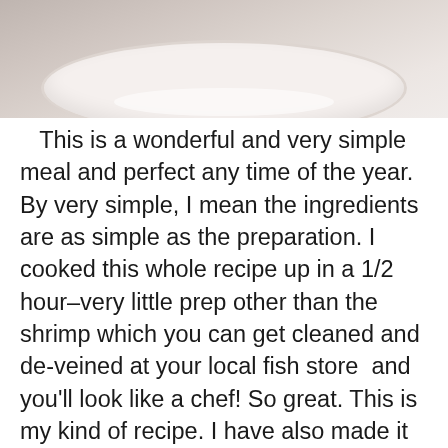[Figure (photo): Top portion of a white bowl or plate on a white background, viewed from above, partially cropped]
This is a wonderful and very simple meal and perfect any time of the year.  By very simple, I mean the ingredients are as simple as the preparation. I cooked this whole recipe up in a 1/2 hour–very little prep other than the shrimp which you can get cleaned and de-veined at your local fish store  and you'll look like a chef! So great. This is my kind of recipe. I have also made it adding some spinach to it , just add some fresh spinach ( as much or as little as you'd like) to the tomatoes right before you add the shrimp for the final time, let spinach just wilt then add shrimp back in to the pan at the end. Joel really hates spinach so if I'm doing it I cook spinach in a separate pan and add to mine.
The beans are a perfectly healthy alternative to pasta and